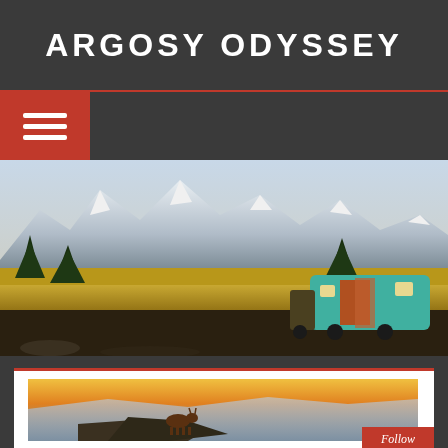ARGOSY ODYSSEY
[Figure (photo): Hamburger/menu navigation button with orange-red background and three white horizontal lines]
[Figure (photo): Panoramic hero photograph of snow-capped mountains with evergreen and golden autumn trees in the foreground, and a colorful painted Airstream-style trailer on the right side]
[Figure (photo): Mountain goat standing on a rocky cliff with a golden sunset sky and foggy mountain valley in the background, inside a white-framed card with red top border]
Follow